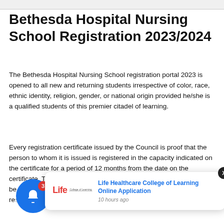Bethesda Hospital Nursing School Registration 2023/2024
The Bethesda Hospital Nursing School registration portal 2023 is opened to all new and returning students irrespective of color, race, ethnic identity, religion, gender, or national origin provided he/she is a qualified students of this premier citadel of learning.
Every registration certificate issued by the Council is proof that the person to whom it is issued is registered in the capacity indicated on the certificate for a period of 12 months from the date on the certificate. Thereafter, the practitioner must pay an annual fee and be issued an Annual P... p...n in that cap... re...ion for all qualifications appearing thereon.
[Figure (screenshot): Notification popup from Life Healthcare College of Learning with logo, title 'Life Healthcare College of Learning Online Application', and timestamp '10 hours ago'. Also shows notification bell icon with badge count 3.]